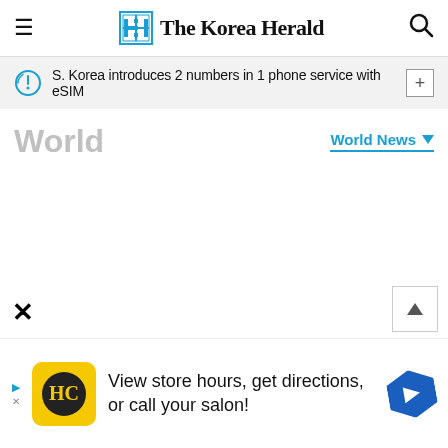The Korea Herald
S. Korea introduces 2 numbers in 1 phone service with eSIM
World
World News
[Figure (screenshot): Empty white content area below World section header]
[Figure (infographic): Advertisement bar: HC logo, 'View store hours, get directions, or call your salon!' with navigation icon]